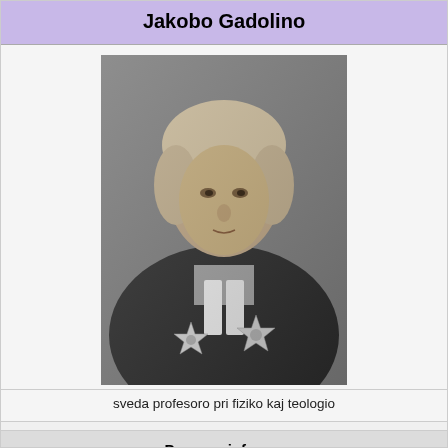Jakobo Gadolino
[Figure (photo): Black and white portrait of Jakobo Gadolino, a Swedish professor wearing clerical attire with two star-shaped medals/decorations on his chest]
sveda profesoro pri fiziko kaj teologio
Persona informo
| Naskiĝo | 24-a de oktobro 1719
en Strängnäs, 🇸🇪 Svedio |